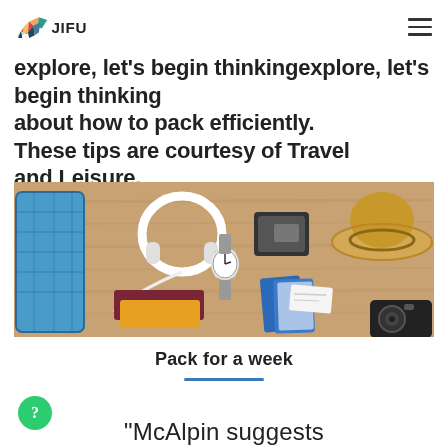JIFU
explore, let's begin thinking about how to pack efficiently. These tips are courtesy of Travel and Leisure.
[Figure (photo): Flat lay photo on a wooden surface showing travel items: a blue hard-shell suitcase, white headphones with cable, a watch, a dark wallet, a straw hat, folded clothing (maroon and yellow), a passport, boarding pass, and camera]
Pack for a week
“McAlpin suggests